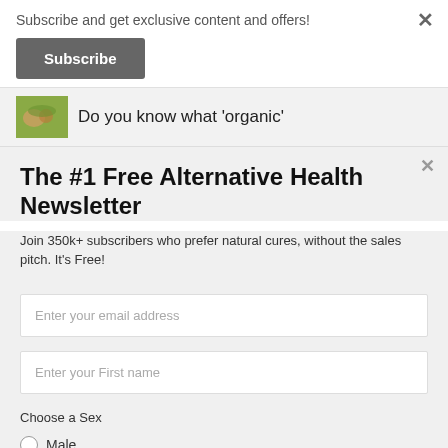Subscribe and get exclusive content and offers!
Subscribe
Do you know what 'organic'
The #1 Free Alternative Health Newsletter
Join 350k+ subscribers who prefer natural cures, without the sales pitch. It's Free!
Enter your email address
Enter your First name
Choose a Sex
Male
Female
Free Access - Forever